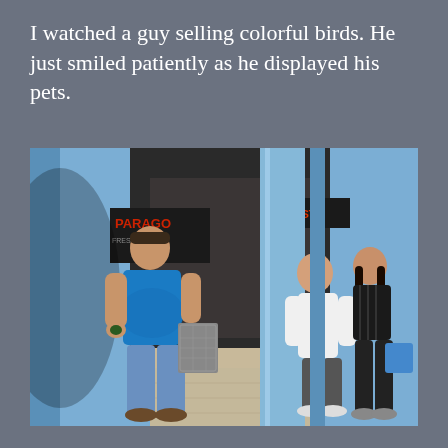I watched a guy selling colorful birds. He just smiled patiently as he displayed his pets.
[Figure (photo): Street scene showing a man in a blue polo shirt and jeans standing near a light blue column outside a shop, holding something small in his hands. A younger man in white and a woman in black are visible in the background near the shop entrance. Signs on the storefronts are partially visible.]